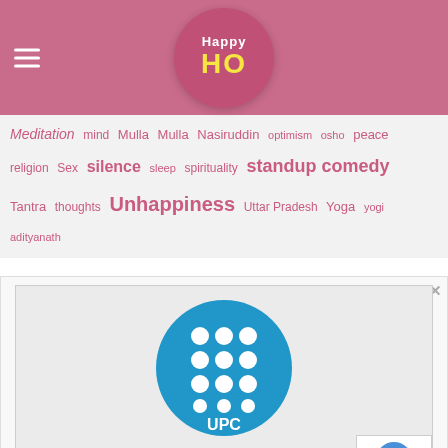Happy HO
Meditation mind Mulla Mulla Nasiruddin optimism osho peace religion Sex silence sleep spirituality standup comedy Tantra thoughts Unhappiness Uttar Pradesh Yoga yogi adityanath
[Figure (logo): UPC School advertisement with blue circular UPC logo showing a 3x4 grid of white circles and the text UPC below. Ad title: Másters y Posgrados UPC School]
Másters y Posgrados UPC School
Te Ayudamos a Impulsar tu Carrera Profesional con un 10%